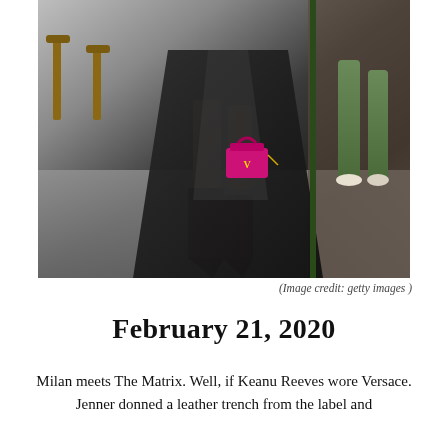[Figure (photo): Fashion photo showing lower body of a person wearing a black leather trench coat, black mini skirt or shorts, dark knee-high pointed boots, and holding a small bright pink/magenta Versace handbag. In the background are wooden bar stools and a store display with green boots on a mannequin.]
(Image credit: getty images )
February 21, 2020
Milan meets The Matrix. Well, if Keanu Reeves wore Versace. Jenner donned a leather trench from the label and